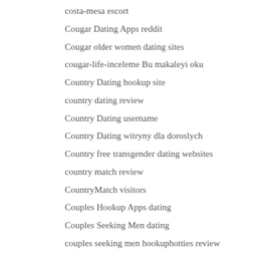costa-mesa escort
Cougar Dating Apps reddit
Cougar older women dating sites
cougar-life-inceleme Bu makaleyi oku
Country Dating hookup site
country dating review
Country Dating username
Country Dating witryny dla doroslych
Country free transgender dating websites
country match review
CountryMatch visitors
Couples Hookup Apps dating
Couples Seeking Men dating
couples seeking men hookuphotties review